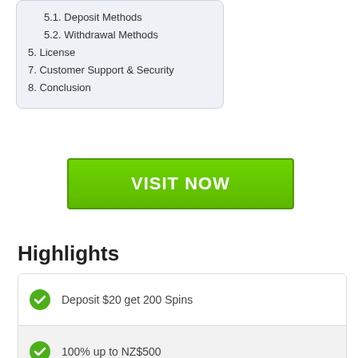5.1. Deposit Methods
5.2. Withdrawal Methods
5. License
7. Customer Support & Security
8. Conclusion
[Figure (other): Green VISIT NOW button]
Highlights
Deposit $20 get 200 Spins
100% up to NZ$500
Blackjack Party